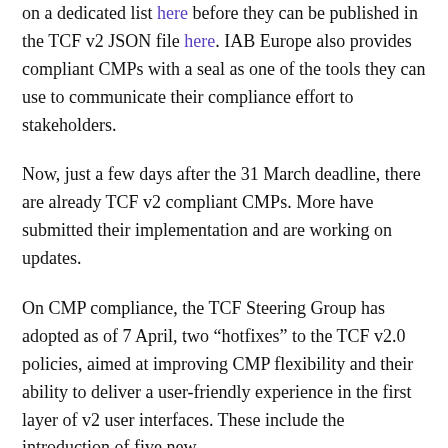on a dedicated list here before they can be published in the TCF v2 JSON file here. IAB Europe also provides compliant CMPs with a seal as one of the tools they can use to communicate their compliance effort to stakeholders.
Now, just a few days after the 31 March deadline, there are already TCF v2 compliant CMPs. More have submitted their implementation and are working on updates.
On CMP compliance, the TCF Steering Group has adopted as of 7 April, two “hotfixes” to the TCF v2.0 policies, aimed at improving CMP flexibility and their ability to deliver a user-friendly experience in the first layer of v2 user interfaces. These include the introduction of five new